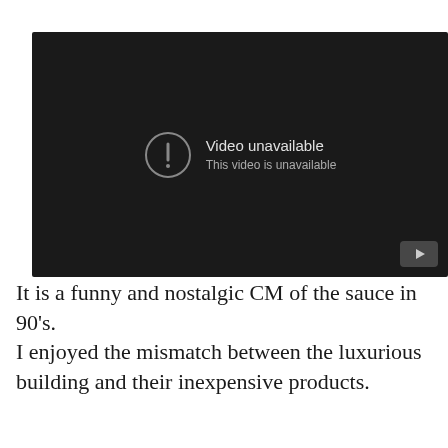[Figure (screenshot): A dark YouTube-style video player showing 'Video unavailable. This video is unavailable.' error message with an exclamation icon and a YouTube button in the bottom-right corner.]
It is a funny and nostalgic CM of the sauce in 90's.
I enjoyed the mismatch between the luxurious building and their inexpensive products.